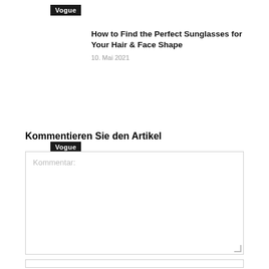Vogue
How to Find the Perfect Sunglasses for Your Hair & Face Shape
10. Mai 2021
Vogue
[Figure (other): Navigation previous/next arrow buttons]
Kommentieren Sie den Artikel
Kommentar: